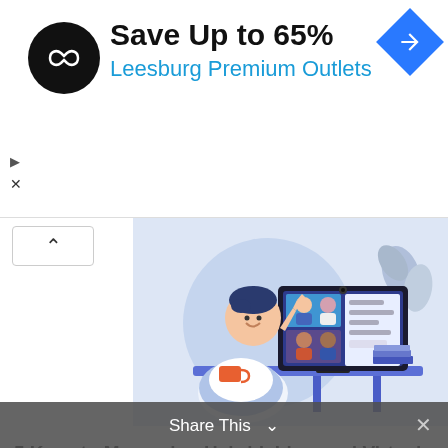[Figure (other): Advertisement banner: logo (black circle with loop/infinity symbol), text 'Save Up to 65% Leesburg Premium Outlets', blue diamond navigation icon. Small play and X controls on left.]
[Figure (illustration): Flat-style illustration of a person sitting in a red chair at a desk, waving at a computer monitor showing a video call with multiple participants. Blue and white color scheme, plant in background.]
5 Keys to Measuring Hybrid, Live, and Virtual Systems
[Figure (photo): Dramatic sky photo with dark clouds and silhouetted landscape, partially visible at bottom of page.]
Share This ×